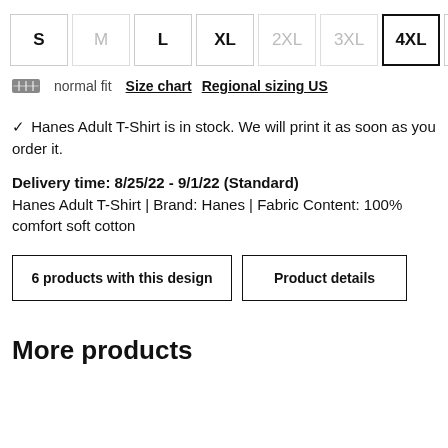S M L XL 2XL 3XL 4XL 5>
normal fit  Size chart  Regional sizing US
✓ Hanes Adult T-Shirt is in stock. We will print it as soon as you order it.
Delivery time: 8/25/22 - 9/1/22 (Standard)
Hanes Adult T-Shirt | Brand: Hanes | Fabric Content: 100% comfort soft cotton
6 products with this design
Product details
More products